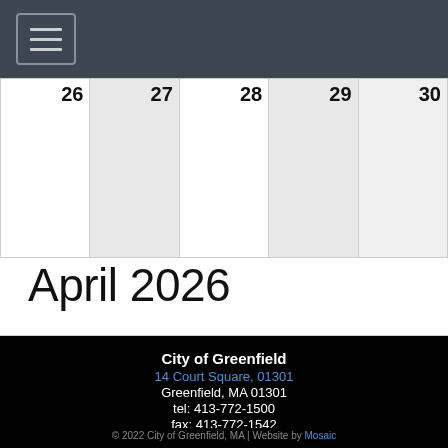[Navigation menu button]
| 26 | 27 | 28 | 29 | 30 |
| --- | --- | --- | --- | --- |
|  |  |  |  |  |
April 2026
City of Greenfield
14 Court Square, 01301
Greenfield, MA 01301
tel: 413-772-1500
fax: 413-772-1542
Contact Us
Contact Webmaster
© 2022 City of Greenfield, MA | Website by Mosaic